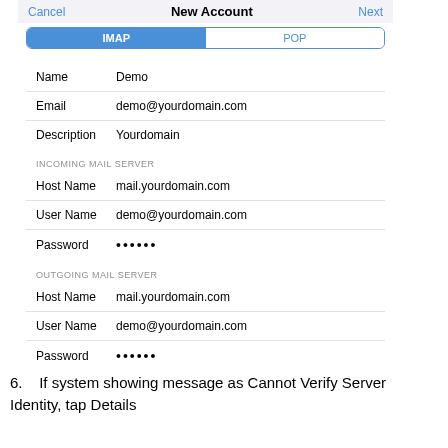[Figure (screenshot): iOS New Account screen showing IMAP/POP toggle, account info fields (Name: Demo, Email: demo@yourdomain.com, Description: Yourdomain), Incoming Mail Server fields (Host Name: mail.yourdomain.com, User Name: demo@yourdomain.com, Password: ••••••), and Outgoing Mail Server fields (Host Name: mail.yourdomain.com, User Name: demo@yourdomain.com, Password: ••••••)]
6.    If system showing message as Cannot Verify Server Identity, tap Details